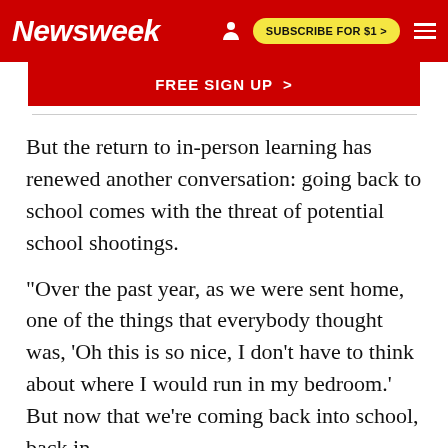Newsweek | SUBSCRIBE FOR $1 >
[Figure (other): Red FREE SIGN UP > banner button]
But the return to in-person learning has renewed another conversation: going back to school comes with the threat of potential school shootings.
"Over the past year, as we were sent home, one of the things that everybody thought was, 'Oh this is so nice, I don't have to think about where I would run in my bedroom.' But now that we're coming back into school, back in